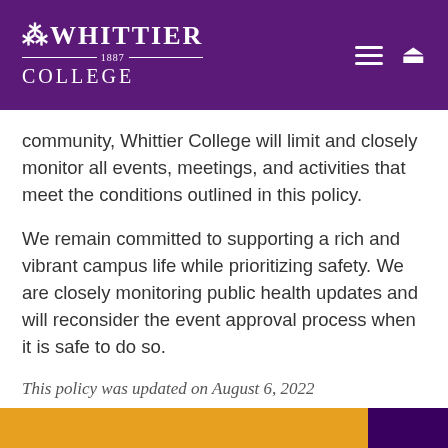[Figure (logo): Whittier College logo with text 'WHITTIER 1887 COLLEGE' on purple background with hamburger menu and search icon]
community, Whittier College will limit and closely monitor all events, meetings, and activities that meet the conditions outlined in this policy.
We remain committed to supporting a rich and vibrant campus life while prioritizing safety. We are closely monitoring public health updates and will reconsider the event approval process when it is safe to do so.
This policy was updated on August 6, 2022
Event Definitions